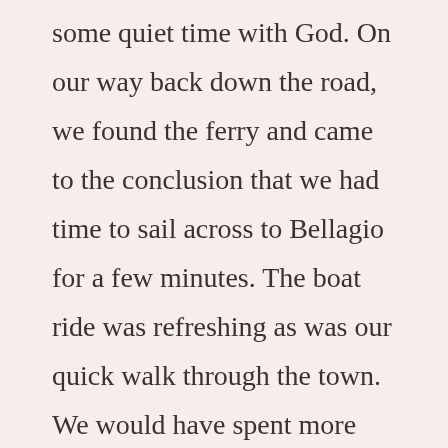some quiet time with God. On our way back down the road, we found the ferry and came to the conclusion that we had time to sail across to Bellagio for a few minutes. The boat ride was refreshing as was our quick walk through the town. We would have spent more time, but we had a brunch to attend in the name of the newly weds.